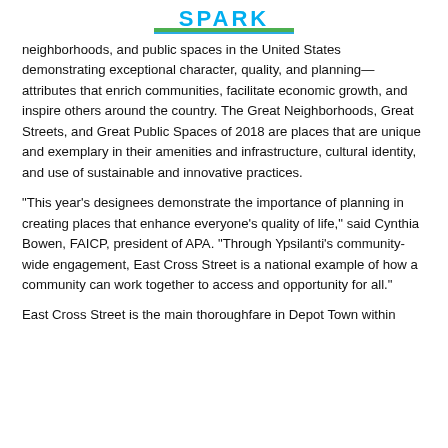SPARK
neighborhoods, and public spaces in the United States demonstrating exceptional character, quality, and planning—attributes that enrich communities, facilitate economic growth, and inspire others around the country. The Great Neighborhoods, Great Streets, and Great Public Spaces of 2018 are places that are unique and exemplary in their amenities and infrastructure, cultural identity, and use of sustainable and innovative practices.
“This year’s designees demonstrate the importance of planning in creating places that enhance everyone’s quality of life,” said Cynthia Bowen, FAICP, president of APA. “Through Ypsilanti’s community-wide engagement, East Cross Street is a national example of how a community can work together to access and opportunity for all.”
East Cross Street is the main thoroughfare in Depot Town within